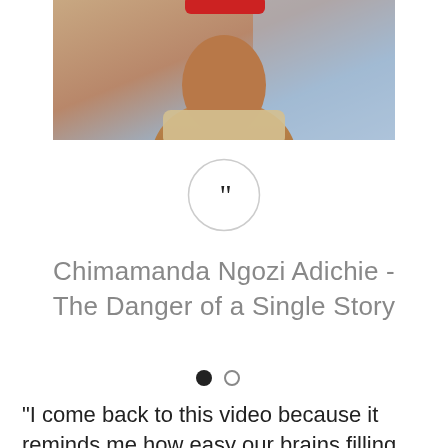[Figure (photo): Photo of Chimamanda Ngozi Adichie, a woman wearing traditional attire with gold jewelry, partially visible from the shoulders up against a blue/purple background. A red element is partially visible at the top.]
[Figure (illustration): A circle with a light gray border containing large open quotation marks (“) in dark color, serving as a decorative quote icon.]
Chimamanda Ngozi Adichie - The Danger of a Single Story
[Figure (infographic): Pagination dots: one filled black circle and one empty/outlined circle, indicating a carousel or slideshow with two slides, currently on slide one.]
“I come back to this video because it reminds me how easy our brains filling the spaces for what...